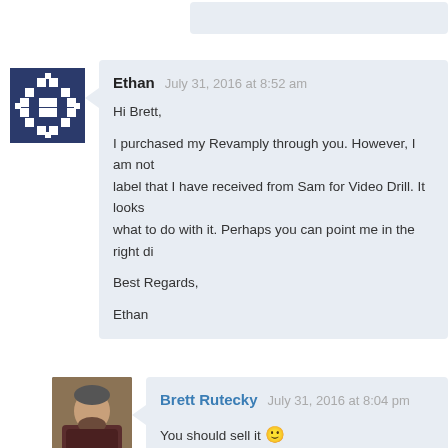[Figure (screenshot): Partial comment bubble at top of page, cut off]
Ethan
July 31, 2016 at 8:52 am

Hi Brett,

I purchased my Revamply through you. However, I am not label that I have received from Sam for Video Drill. It looks what to do with it. Perhaps you can point me in the right di

Best Regards,

Ethan
[Figure (photo): Avatar photo of Brett Rutecky, a man in a dark shirt]
Brett Rutecky
July 31, 2016 at 8:04 pm

You should sell it 🙂